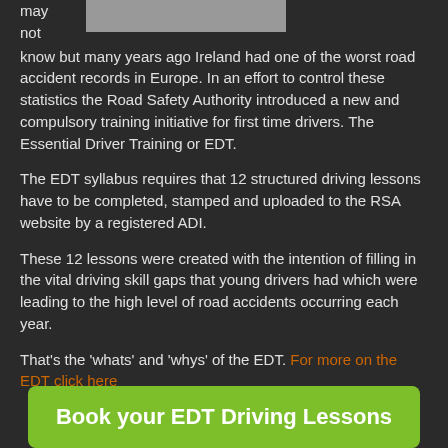[Figure (photo): Photo of a young woman, partially visible at top of page]
may not know but many years ago Ireland had one of the worst road accident records in Europe. In an effort to control these statistics the Road Safety Authority introduced a new and compulsory training initiative for first time drivers. The Essential Driver Training or EDT.
The EDT syllabus requires that 12 structured driving lessons have to be completed, stamped and uploaded to the RSA website by a registered ADI.
These 12 lessons were created with the intention of filling in the vital driving skill gaps that young drivers had which were leading to the high level of road accidents occurring each year.
That's the 'whats' and 'whys' of the EDT. For more on the EDT click here
Book your EDT Driving Lessons